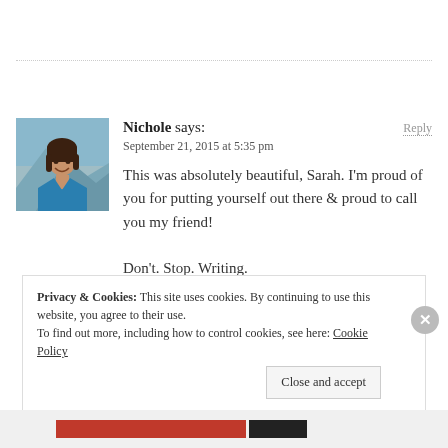[Figure (photo): Avatar photo of commenter Nichole — a woman with dark hair wearing a blue jacket, outdoors with mountains in background]
Nichole says:
September 21, 2015 at 5:35 pm
This was absolutely beautiful, Sarah. I'm proud of you for putting yourself out there & proud to call you my friend!
Don't. Stop. Writing.
Reply
Privacy & Cookies: This site uses cookies. By continuing to use this website, you agree to their use.
To find out more, including how to control cookies, see here: Cookie Policy
Close and accept